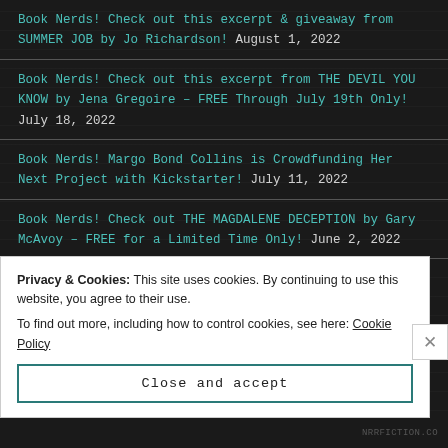Book Nerds! Check out this excerpt & giveaway from SUMMER JOB by Jo Richardson! August 1, 2022
Book Nerds! Check out this excerpt from THE DEVIL YOU KNOW by Jena Gregoire – FREE Through July 19th Only! July 18, 2022
Book Nerds! Margo Bond Collins is Crowdfunding Her Next Project with Kickstarter! July 11, 2022
Book Nerds! Check out THE MAGDALENE DECEPTION by Gary McAvoy – FREE for a Limited Time Only! June 2, 2022
Book Nerds! Check out this cover reveal for ONE WISH by
Privacy & Cookies: This site uses cookies. By continuing to use this website, you agree to their use.
To find out more, including how to control cookies, see here: Cookie Policy
Close and accept
NRRFICTION.CO